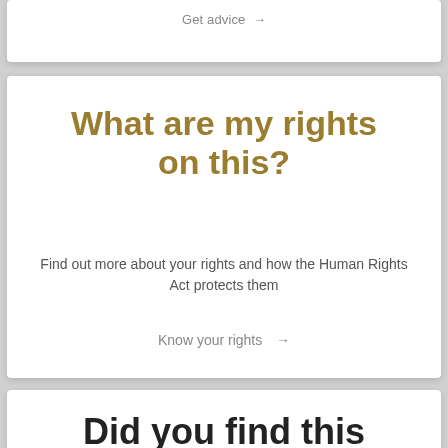Get advice →
What are my rights on this?
Find out more about your rights and how the Human Rights Act protects them
Know your rights →
Did you find this content useful?